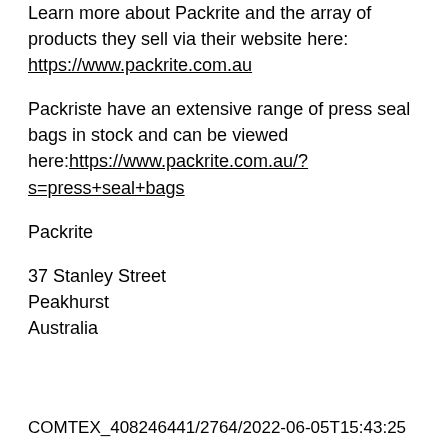Learn more about Packrite and the array of products they sell via their website here: https://www.packrite.com.au
Packriste have an extensive range of press seal bags in stock and can be viewed here:https://www.packrite.com.au/?s=press+seal+bags
Packrite
37 Stanley Street
Peakhurst
Australia
COMTEX_408246441/2764/2022-06-05T15:43:25